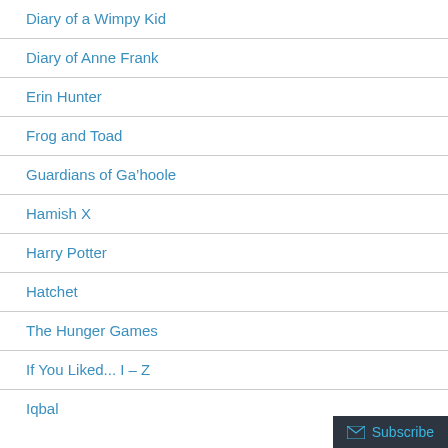Diary of a Wimpy Kid
Diary of Anne Frank
Erin Hunter
Frog and Toad
Guardians of Ga’hoole
Hamish X
Harry Potter
Hatchet
The Hunger Games
If You Liked... I – Z
Iqbal